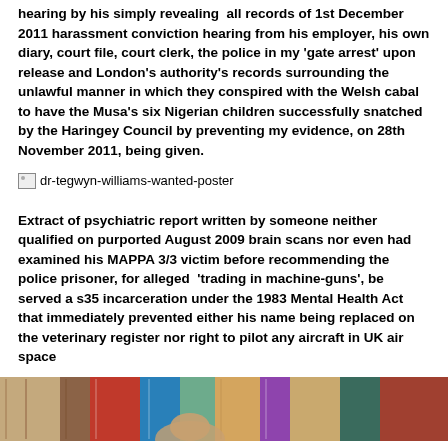hearing by his simply revealing all records of 1st December 2011 harassment conviction hearing from his employer, his own diary, court file, court clerk, the police in my 'gate arrest' upon release and London's authority's records surrounding the unlawful manner in which they conspired with the Welsh cabal to have the Musa's six Nigerian children successfully snatched by the Haringey Council by preventing my evidence, on 28th November 2011, being given.
[Figure (photo): Broken image placeholder labeled 'dr-tegwyn-williams-wanted-poster']
Extract of psychiatric report written by someone neither qualified on purported August 2009 brain scans nor even had examined his MAPPA 3/3 victim before recommending the police prisoner, for alleged 'trading in machine-guns', be served a s35 incarceration under the 1983 Mental Health Act that immediately prevented either his name being replaced on the veterinary register nor right to pilot any aircraft in UK air space
[Figure (photo): Partial photograph showing books on shelves and a person, cropped at bottom of page]